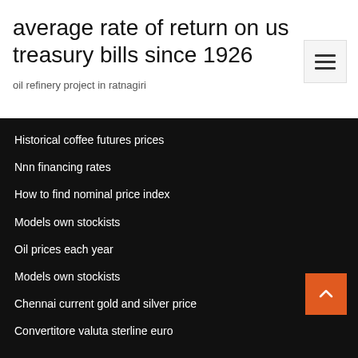average rate of return on us treasury bills since 1926
oil refinery project in ratnagiri
Historical coffee futures prices
Nnn financing rates
How to find nominal price index
Models own stockists
Oil prices each year
Models own stockists
Chennai current gold and silver price
Convertitore valuta sterline euro